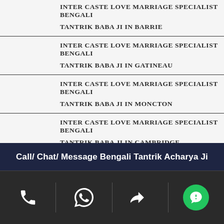INTER CASTE LOVE MARRIAGE SPECIALIST BENGALI TANTRIK BABA JI IN BARRIE
INTER CASTE LOVE MARRIAGE SPECIALIST BENGALI TANTRIK BABA JI IN GATINEAU
INTER CASTE LOVE MARRIAGE SPECIALIST BENGALI TANTRIK BABA JI IN MONCTON
INTER CASTE LOVE MARRIAGE SPECIALIST BENGALI TANTRIK BABA JI IN CAMBRIDGE
INTER CASTE LOVE MARRIAGE SPECIALIST BENGALI TANTRIK BABA JI IN GREATERSUDBURY
Call/ Chat/ Message Bengali Tantrik Acharya Ji